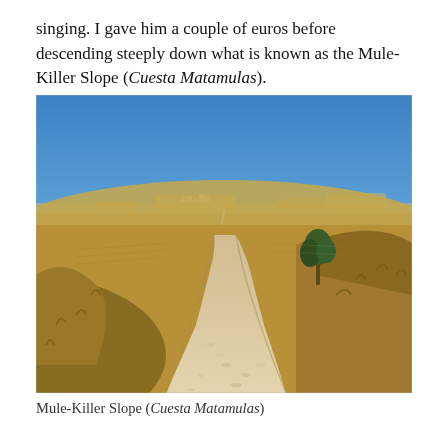singing. I gave him a couple of euros before descending steeply down what is known as the Mule-Killer Slope (Cuesta Matamulas).
[Figure (photo): A wide gravel and dirt path descending through dry golden hills under a bright blue sky, with a small village and flat-topped mesas visible in the distant background. Sparse dry grass and a small tree line the sides of the trail.]
Mule-Killer Slope (Cuesta Matamulas)